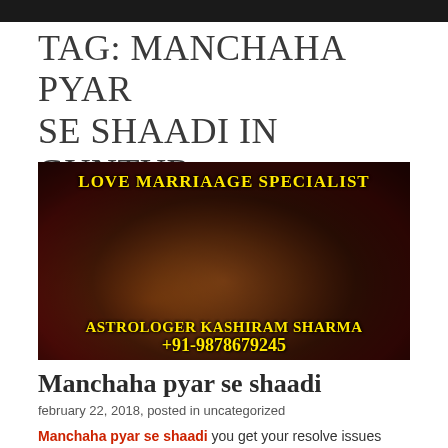TAG: MANCHAHA PYAR SE SHAADI IN GUNTUR
[Figure (photo): Wedding photo showing joined hands of bride and groom with bangles and mehndi, overlaid with text: LOVE MARRIAAGE SPECIALIST, ASTROLOGER KASHIRAM SHARMA +91-9878679245]
Manchaha pyar se shaadi
february 22, 2018, posted in uncategorized
Manchaha pyar se shaadi you get your resolve issues related to love...